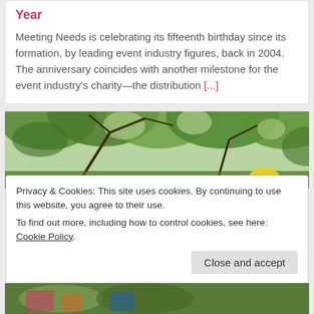Year
Meeting Needs is celebrating its fifteenth birthday since its formation, by leading event industry figures, back in 2004. The anniversary coincides with another milestone for the event industry's charity—the distribution [...]
[Figure (photo): Outdoor photo showing green tree canopy with branches and what appears to be a person with a yellow helmet visible at the bottom right]
Privacy & Cookies: This site uses cookies. By continuing to use this website, you agree to their use.
To find out more, including how to control cookies, see here: Cookie Policy.
[Figure (photo): Partial photo visible at bottom of page showing colorful outdoor scene]